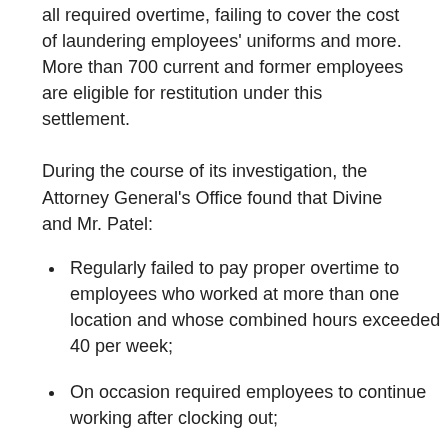all required overtime, failing to cover the cost of laundering employees' uniforms and more. More than 700 current and former employees are eligible for restitution under this settlement.
During the course of its investigation, the Attorney General's Office found that Divine and Mr. Patel:
Regularly failed to pay proper overtime to employees who worked at more than one location and whose combined hours exceeded 40 per week;
On occasion required employees to continue working after clocking out;
Treated certain managers as exempt from the